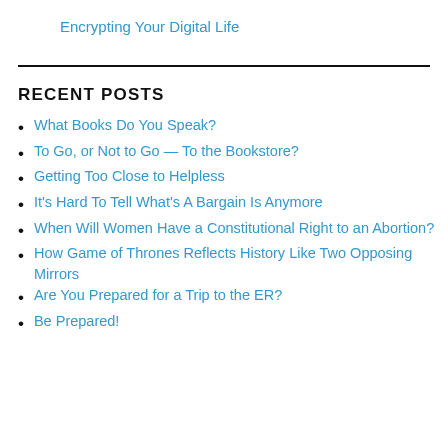Encrypting Your Digital Life
RECENT POSTS
What Books Do You Speak?
To Go, or Not to Go — To the Bookstore?
Getting Too Close to Helpless
It's Hard To Tell What's A Bargain Is Anymore
When Will Women Have a Constitutional Right to an Abortion?
How Game of Thrones Reflects History Like Two Opposing Mirrors
Are You Prepared for a Trip to the ER?
Be Prepared!